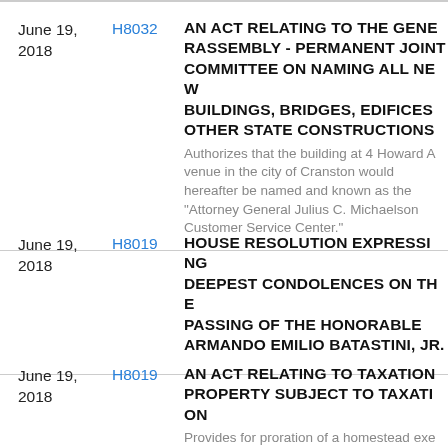June 19, 2018 | H8032 | AN ACT RELATING TO THE GENERAL ASSEMBLY - PERMANENT JOINT COMMITTEE ON NAMING ALL NEW BUILDINGS, BRIDGES, EDIFICES AND OTHER STATE CONSTRUCTIONS | Authorizes that the building at 4 Howard Avenue in the city of Cranston would hereafter be named and known as the "Attorney General Julius C. Michaelson Customer Service Center."
June 19, 2018 | H8019 | HOUSE RESOLUTION EXPRESSING DEEPEST CONDOLENCES ON THE PASSING OF THE HONORABLE ARMANDO EMILIO BATASTINI, JR.
June 19, 2018 | H8019 | AN ACT RELATING TO TAXATION - PROPERTY SUBJECT TO TAXATION | Provides for proration of a homestead exemption...